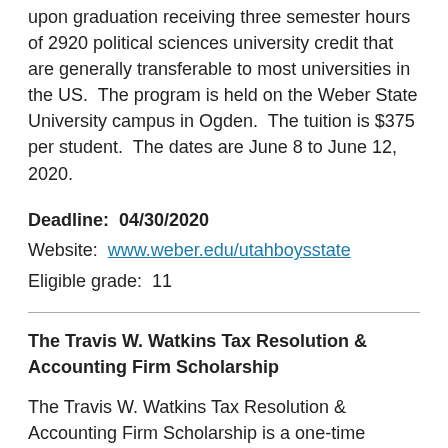upon graduation receiving three semester hours of 2920 political sciences university credit that are generally transferable to most universities in the US. The program is held on the Weber State University campus in Ogden. The tuition is $375 per student. The dates are June 8 to June 12, 2020.
Deadline: 04/30/2020
Website: www.weber.edu/utahboysstate
Eligible grade: 11
The Travis W. Watkins Tax Resolution & Accounting Firm Scholarship
The Travis W. Watkins Tax Resolution & Accounting Firm Scholarship is a one-time $1,000 award for any current or soon-to-be student who has had his or her family's life altered because of tax